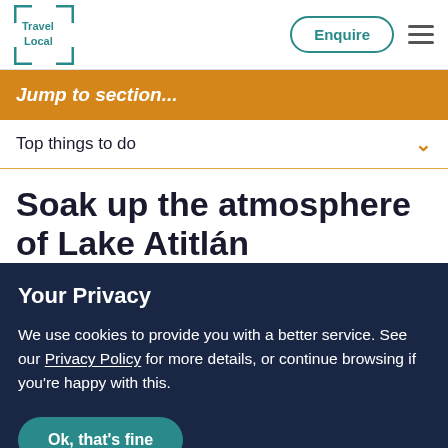Travel Local — Enquire [navigation button] [hamburger menu]
Jump to section...
Top things to do
Soak up the atmosphere of Lake Atitlán
Your Privacy
We use cookies to provide you with a better service. See our Privacy Policy for more details, or continue browsing if you're happy with this.
Ok, that's fine